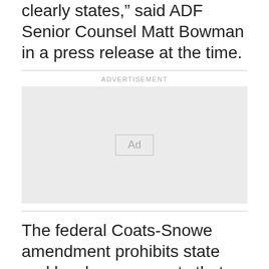clearly states,” said ADF Senior Counsel Matt Bowman in a press release at the time.
[Figure (other): Advertisement placeholder box with 'Ad' label]
The federal Coats-Snowe amendment prohibits state and local governments that receive federal funds from discriminating